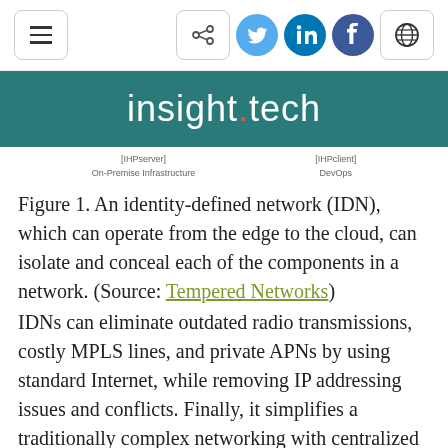insight.tech
[Figure (schematic): Diagram showing IHPserver (On-Premise Infrastructure) and IHPclient (DevOps) components of an identity-defined network]
Figure 1. An identity-defined network (IDN), which can operate from the edge to the cloud, can isolate and conceal each of the components in a network. (Source: Tempered Networks)
IDNs can eliminate outdated radio transmissions, costly MPLS lines, and private APNs by using standard Internet, while removing IP addressing issues and conflicts. Finally, it simplifies a traditionally complex networking with centralized point-and-click